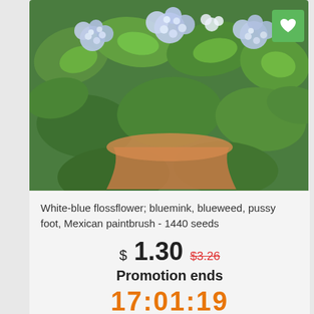[Figure (photo): Photo of white-blue flossflowers (ageratum) with green leaves held in a terracotta pot]
White-blue flossflower; bluemink, blueweed, pussy foot, Mexican paintbrush - 1440 seeds
$ 1.30  $3.26
Promotion ends
17:01:19
ADD TO CART
[Figure (photo): Photo of a dark purple/black petunia flower against a green background]
-60%